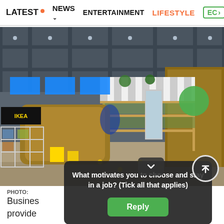LATEST  NEWS  ENTERTAINMENT  LIFESTYLE  EC>
[Figure (photo): Interior of an IKEA store food market area showing a wooden market stall with striped awning, refrigerators, food displays, and yellow floor markings. Swedish flag colors visible on staff clothing in background.]
PHOTO:
What motivates you to choose and stay in a job? (Tick all that applies)
Busines... on provide... dren